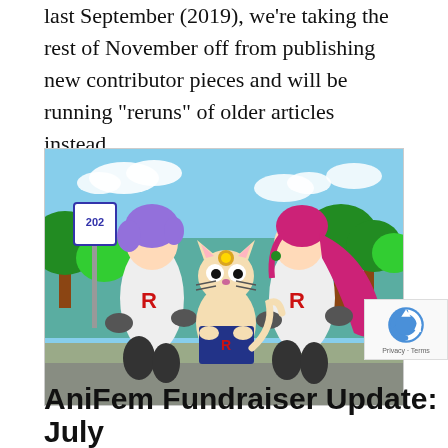last September (2019), we're taking the rest of November off from publishing new contributor pieces and will be running “reruns” of older articles instead.
[Figure (illustration): Anime illustration showing Team Rocket characters from Pokémon — a male character with purple hair and a female character with long pink-red hair, both wearing white uniforms with a red 'R' logo, crouching beside Meowth who is reading a book with an 'R' on the cover. Background shows green trees and a blue sky. A sign post with '202' is visible on the left.]
AniFem Fundraiser Update: July